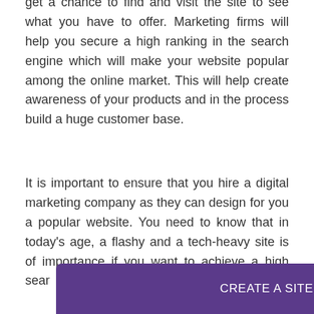get a chance to find and visit the site to see what you have to offer. Marketing firms will help you secure a high ranking in the search engine which will make your website popular among the online market. This will help create awareness of your products and in the process build a huge customer base.
It is important to ensure that you hire a digital marketing company as they can design for you a popular website. You need to know that in today's age, a flashy and a tech-heavy site is of importance if you want to achieve a high sear... can be d... ence
[Figure (infographic): Purple banner at the bottom of the page reading 'CREATE A SITE WITH strikingly' in white text, where 'strikingly' is in bold italic.]